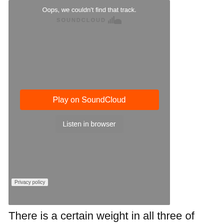[Figure (screenshot): SoundCloud embedded player showing error state: 'Oops, we couldn't find that track.' with SoundCloud logo, a gray background, an orange 'Play on SoundCloud' button, a gray 'Listen in browser' button, and a 'Privacy policy' label at the bottom left.]
There is a certain weight in all three of Nulabee's newest tracks, dissecting a matter and aspect of the lives and